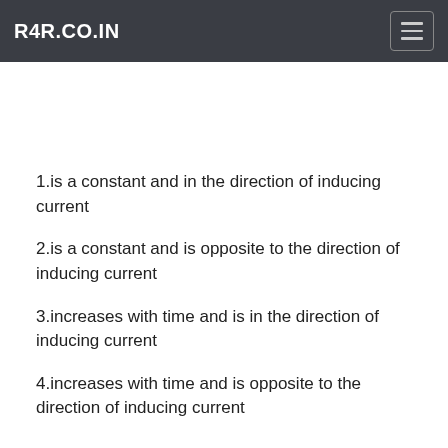R4R.CO.IN
1.is a constant and in the direction of inducing current
2.is a constant and is opposite to the direction of inducing current
3.increases with time and is in the direction of inducing current
4.increases with time and is opposite to the direction of inducing current